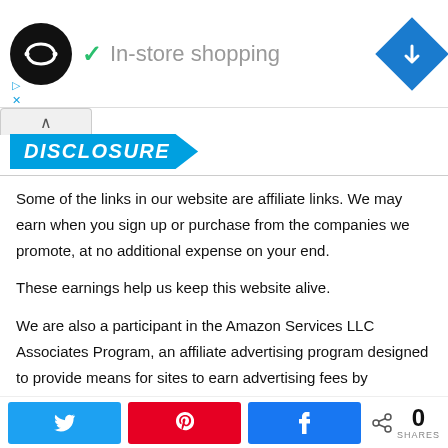[Figure (screenshot): Ad banner showing a circular black logo with infinity symbol, checkmark with 'In-store shopping' text in gray, and a blue diamond navigation icon on the right. Small cyan play/close controls visible bottom-left.]
DISCLOSURE
Some of the links in our website are affiliate links. We may earn when you sign up or purchase from the companies we promote, at no additional expense on your end.
These earnings help us keep this website alive.
We are also a participant in the Amazon Services LLC Associates Program, an affiliate advertising program designed to provide means for sites to earn advertising fees by
[Figure (screenshot): Social share bar with Twitter (blue), Pinterest (red), and Facebook (blue) buttons, plus a share icon with count showing 0 SHARES.]